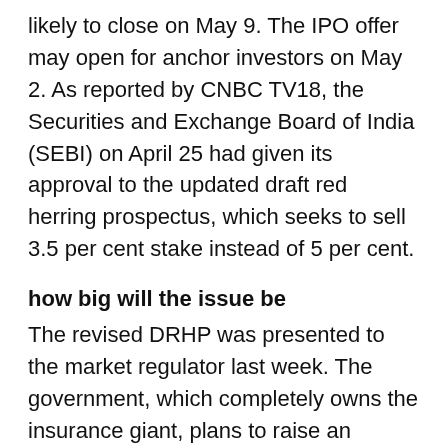likely to close on May 9. The IPO offer may open for anchor investors on May 2. As reported by CNBC TV18, the Securities and Exchange Board of India (SEBI) on April 25 had given its approval to the updated draft red herring prospectus, which seeks to sell 3.5 per cent stake instead of 5 per cent.
how big will the issue be
The revised DRHP was presented to the market regulator last week. The government, which completely owns the insurance giant, plans to raise an amount of Rs 21,000 crore by selling around 22 crore shares, which is equivalent to 3.5 per cent stake in LIC. Through the Rs 21,000 crore IPO, the government is targeting Rs 6 lakh crore valuation of the insurance company. The previous draft papers related to the IPO were filed with Sebi in February after the government said it was planning to sell 316 crore shares in its 5 per cent stake sale in the state-run insurer. However,